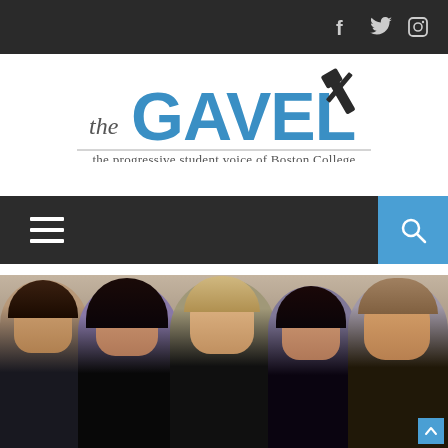The Gavel - the progressive student voice of Boston College - social media icons: Facebook, Twitter, Instagram
[Figure (logo): The Gavel logo - 'the GAVEL' in blue and dark text with crossed gavel and pen icon, subtitle: 'the progressive student voice of Boston College']
[Figure (infographic): Navigation bar with hamburger menu icon (dark background) and search icon (blue background)]
[Figure (photo): Group photo of five people (three males, two females) seated on a white couch, appearing to be the cast of How I Met Your Mother]